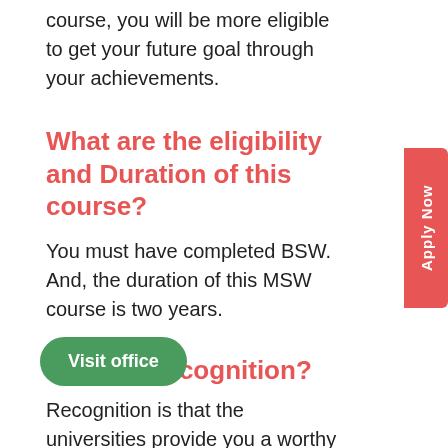course, you will be more eligible to get your future goal through your achievements.
What are the eligibility and Duration of this course?
You must have completed BSW.  And, the duration of this MSW course is two years.
What Is Recognition?
Recognition is that the universities provide you a worthy certificate after doing this course. Therefore, UGC and DEB should